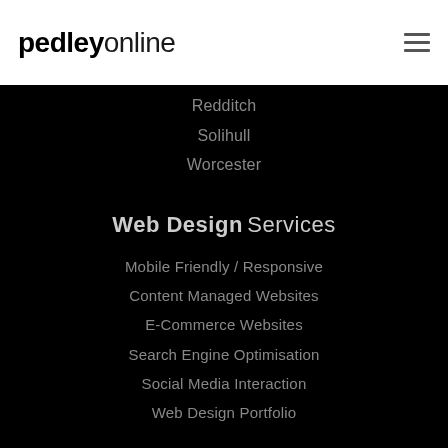[Figure (logo): pedleyonline logo — 'pedley' in bold black, 'online' in regular weight]
Redditch
Solihull
Worcester
Web Design Services
Mobile Friendly / Responsive
Content Managed Websites
E-Commerce Websites
Search Engine Optimisation
Social Media Interaction
Web Design Portfolio